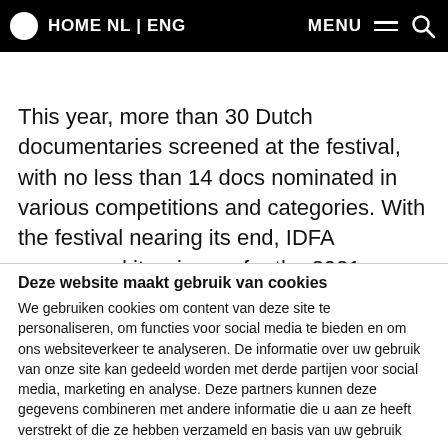HOME NL | ENG   MENU  🔍
This year, more than 30 Dutch documentaries screened at the festival, with no less than 14 docs nominated in various competitions and categories. With the festival nearing its end, IDFA announced its winners for the 2021 edition! See NL takes a look at the Dutch winners of this year.
Deze website maakt gebruik van cookies
We gebruiken cookies om content van deze site te personaliseren, om functies voor social media te bieden en om ons websiteverkeer te analyseren. De informatie over uw gebruik van onze site kan gedeeld worden met derde partijen voor social media, marketing en analyse. Deze partners kunnen deze gegevens combineren met andere informatie die u aan ze heeft verstrekt of die ze hebben verzameld en basis van uw gebruik